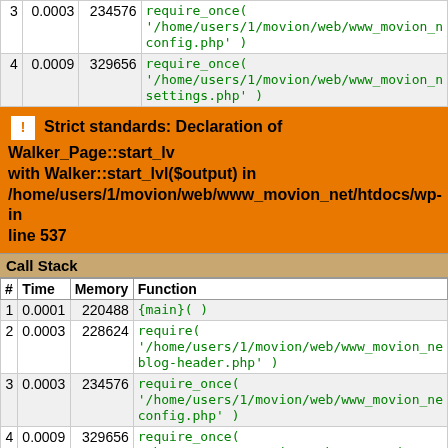| # | Time | Memory | Function |
| --- | --- | --- | --- |
| 3 | 0.0003 | 234576 | require_once( '/home/users/1/movion/web/www_movion_net/config.php' ) |
| 4 | 0.0009 | 329656 | require_once( '/home/users/1/movion/web/www_movion_net/settings.php' ) |
Strict standards: Declaration of Walker_Page::start_lvl with Walker::start_lvl($output) in /home/users/1/movion/web/www_movion_net/htdocs/wp-in line 537
Call Stack
| # | Time | Memory | Function |
| --- | --- | --- | --- |
| 1 | 0.0001 | 220488 | {main}( ) |
| 2 | 0.0003 | 228624 | require( '/home/users/1/movion/web/www_movion_net/blog-header.php' ) |
| 3 | 0.0003 | 234576 | require_once( '/home/users/1/movion/web/www_movion_net/config.php' ) |
| 4 | 0.0009 | 329656 | require_once( '/home/users/1/movion/web/www_movion_net/settings.php' ) |